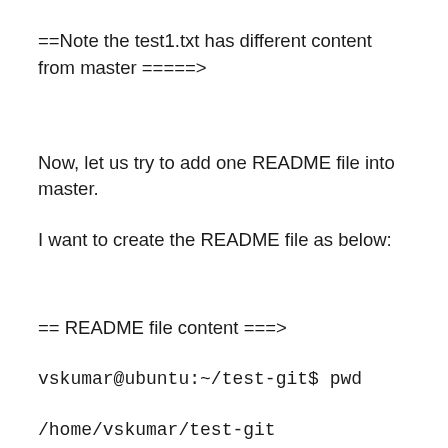==Note the test1.txt has different content from master =====>
Now, let us try to add one README file into master.
I want to create the README file as below:
== README file content ===>
vskumar@ubuntu:~/test-git$ pwd
/home/vskumar/test-git